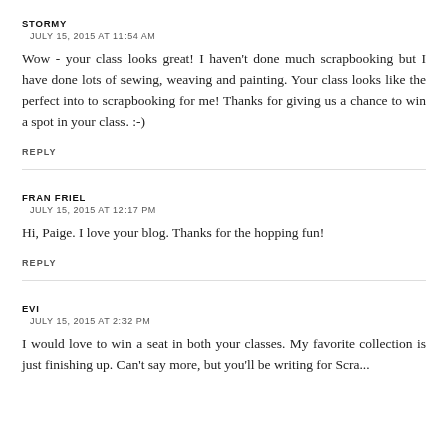STORMY
JULY 15, 2015 AT 11:54 AM
Wow - your class looks great! I haven't done much scrapbooking but I have done lots of sewing, weaving and painting. Your class looks like the perfect into to scrapbooking for me! Thanks for giving us a chance to win a spot in your class. :-)
REPLY
FRAN FRIEL
JULY 15, 2015 AT 12:17 PM
Hi, Paige. I love your blog. Thanks for the hopping fun!
REPLY
EVI
JULY 15, 2015 AT 2:32 PM
I would love to win a seat in both your classes. My favorite collection is just finishing up. Can't say more, but you'll be writing for Scra...